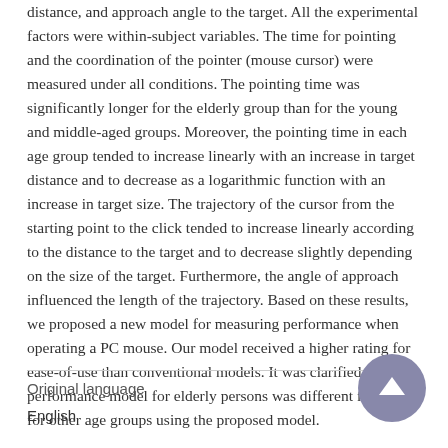distance, and approach angle to the target. All the experimental factors were within-subject variables. The time for pointing and the coordination of the pointer (mouse cursor) were measured under all conditions. The pointing time was significantly longer for the elderly group than for the young and middle-aged groups. Moreover, the pointing time in each age group tended to increase linearly with an increase in target distance and to decrease as a logarithmic function with an increase in target size. The trajectory of the cursor from the starting point to the click tended to increase linearly according to the distance to the target and to decrease slightly depending on the size of the target. Furthermore, the angle of approach influenced the length of the trajectory. Based on these results, we proposed a new model for measuring performance when operating a PC mouse. Our model received a higher rating for ease-of-use than conventional models. It was clarified that the performance model for elderly persons was different from that for other age groups using the proposed model.
Original language
English